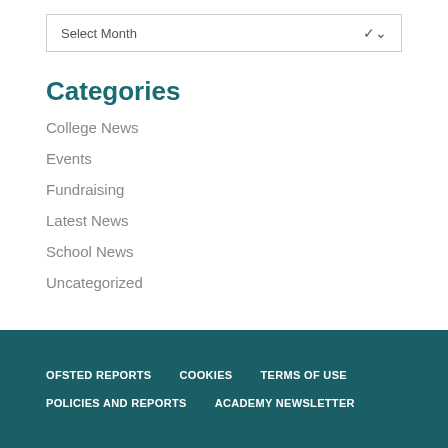Select Month
Categories
College News
Events
Fundraising
Latest News
School News
Uncategorized
OFSTED REPORTS   COOKIES   TERMS OF USE   POLICIES AND REPORTS   ACADEMY NEWSLETTER